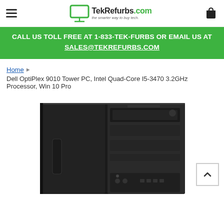[Figure (logo): TekRefurbs.com logo with monitor icon and tagline 'the smarter way to buy tech.']
CALL US TOLL FREE AT 1-833-TEK-FURBS OR EMAIL US AT SALES@TEKREFURBS.COM
Home › Dell OptiPlex 9010 Tower PC, Intel Quad-Core I5-3470 3.2GHz Processor, Win 10 Pro
[Figure (photo): Dell OptiPlex 9010 Tower PC desktop computer, black tower with optical drive bays and front panel ports]